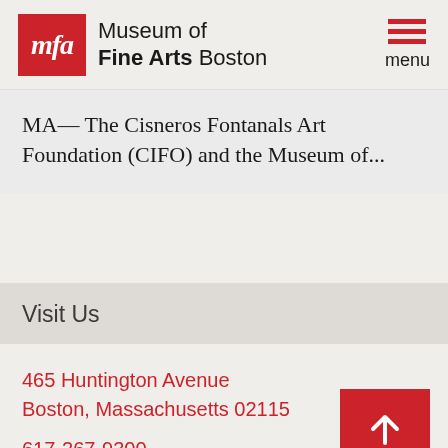[Figure (logo): Museum of Fine Arts Boston logo with red MFA box and text]
MA— The Cisneros Fontanals Art Foundation (CIFO) and the Museum of...
Visit Us
465 Huntington Avenue
Boston, Massachusetts 02115

617-267-9300